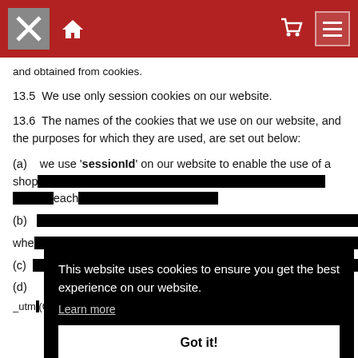[Navigation bar with logo, home icon, cart icon, menu button]
and obtained from cookies.
13.5  We use only session cookies on our website.
13.6  The names of the cookies that we use on our website, and the purposes for which they are used, are set out below:
(a)    we use 'sessionId' on our website to enable the use of a shop[ping cart and to keep track of your selections as you browse each page]
(b)    [partially obscured by cookie overlay] when[...]
(c)    [partially obscured]
(d)    _utm[z (Google Analytics cookies) on our website to find out more about the navigation patterns and browsing location of...]
[Figure (screenshot): Cookie consent popup overlay with black background reading: 'This website uses cookies to ensure you get the best experience on our website. Learn more' and a white 'Got it!' button]